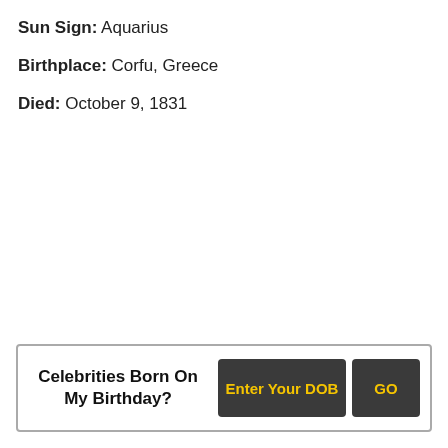Sun Sign: Aquarius
Birthplace: Corfu, Greece
Died: October 9, 1831
Celebrities Born On My Birthday? | Enter Your DOB | GO